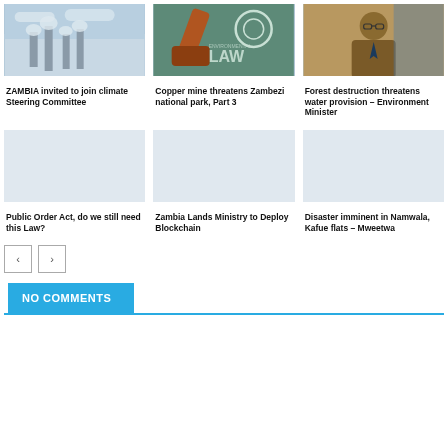[Figure (photo): Industrial smokestacks emitting smoke against cloudy sky]
ZAMBIA invited to join climate Steering Committee
[Figure (photo): Gavel on a book with Environmental Law text and logo]
Copper mine threatens Zambezi national park, Part 3
[Figure (photo): Person in suit and glasses, portrait photo]
Forest destruction threatens water provision – Environment Minister
[Figure (photo): Empty placeholder image for Public Order Act article]
Public Order Act, do we still need this Law?
[Figure (photo): Empty placeholder image for Zambia Lands Ministry article]
Zambia Lands Ministry to Deploy Blockchain
[Figure (photo): Empty placeholder image for Disaster imminent article]
Disaster imminent in Namwala, Kafue flats – Mweetwa
NO COMMENTS